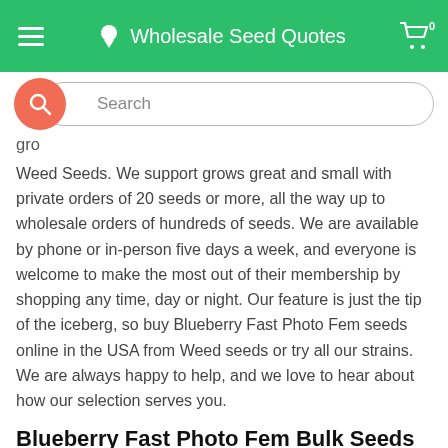Wholesale Seed Quotes
gro...
Weed Seeds. We support grows great and small with private orders of 20 seeds or more, all the way up to wholesale orders of hundreds of seeds. We are available by phone or in-person five days a week, and everyone is welcome to make the most out of their membership by shopping any time, day or night. Our feature is just the tip of the iceberg, so buy Blueberry Fast Photo Fem seeds online in the USA from Weed seeds or try all our strains. We are always happy to help, and we love to hear about how our selection serves you.
Blueberry Fast Photo Fem Bulk Seeds
Weed Seeds provides the very pinnacle of quality and selection, so you don't have to keep searching high and low for a reliable distributor. This strain is mid-sized, so more can fit into any sea. Taking well to cloning, this